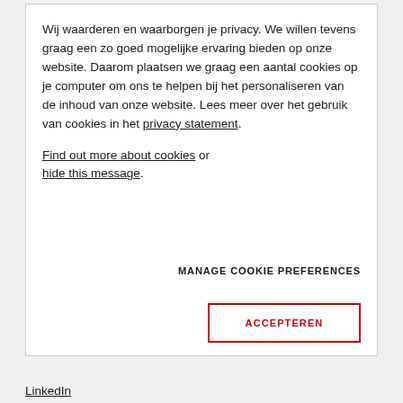Wij waarderen en waarborgen je privacy. We willen tevens graag een zo goed mogelijke ervaring bieden op onze website. Daarom plaatsen we graag een aantal cookies op je computer om ons te helpen bij het personaliseren van de inhoud van onze website. Lees meer over het gebruik van cookies in het privacy statement.
Find out more about cookies or hide this message.
MANAGE COOKIE PREFERENCES
ACCEPTEREN
LinkedIn